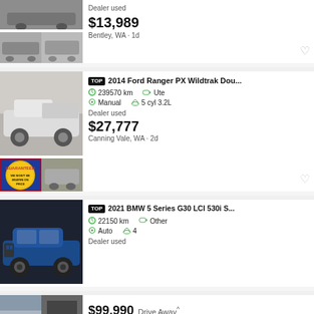[Figure (photo): Partial first listing with car image (top, cropped) and 'Dealer used' label]
Dealer used
$13,989
Bentley, WA · 1d
[Figure (photo): 2014 Ford Ranger PX Wildtrak - white ute with canopy]
TOP 2014 Ford Ranger PX Wildtrak Dou...
239570 km
Ute
Manual
5 cyl 3.2L
Dealer used
$27,777
Canning Vale, WA · 2d
[Figure (photo): 2021 BMW 5 Series G30 LCI 530i - blue sedan]
TOP 2021 BMW 5 Series G30 LCI 530i S...
22150 km
Other
Auto
4
Dealer used
$99,990 Drive Away^
[Figure (photo): Partial bottom listing image (cropped)]